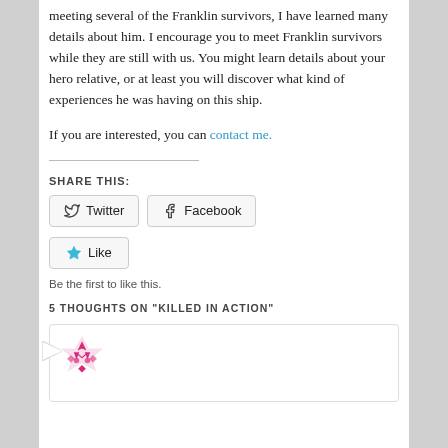meeting several of the Franklin survivors, I have learned many details about him. I encourage you to meet Franklin survivors while they are still with us. You might learn details about your hero relative, or at least you will discover what kind of experiences he was having on this ship.
If you are interested, you can contact me.
SHARE THIS:
[Figure (other): Twitter and Facebook share buttons]
[Figure (other): Like button with star icon]
Be the first to like this.
5 THOUGHTS ON "KILLED IN ACTION"
[Figure (other): Comment box with pink/magenta avatar icon and speech bubble tail]